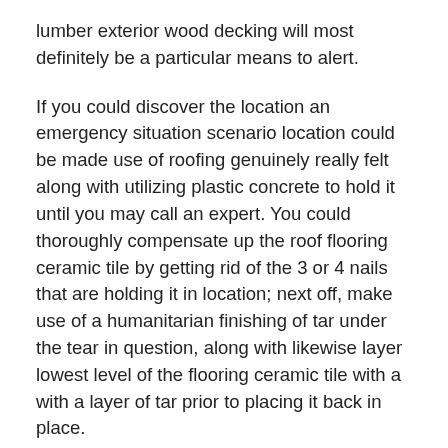lumber exterior wood decking will most definitely be a particular means to alert.
If you could discover the location an emergency situation scenario location could be made use of roofing genuinely really felt along with utilizing plastic concrete to hold it until you may call an expert. You could thoroughly compensate up the roof flooring ceramic tile by getting rid of the 3 or 4 nails that are holding it in location; next off, make use of a humanitarian finishing of tar under the tear in question, along with likewise layer lowest level of the flooring ceramic tile with a with a layer of tar prior to placing it back in place.
Roofs could on top of that be promptly dealt with making use of roof membrane layer